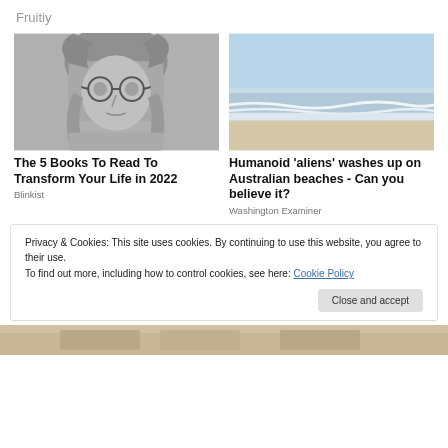Fruitiy
[Figure (photo): Grayscale photo of a young man with long hair and round glasses]
[Figure (photo): Photo of an Australian beach with waves, sand, and light blue sky]
The 5 Books To Read To Transform Your Life in 2022
Blinkist
Humanoid 'aliens' washes up on Australian beaches - Can you believe it?
Washington Examiner
Privacy & Cookies: This site uses cookies. By continuing to use this website, you agree to their use.
To find out more, including how to control cookies, see here: Cookie Policy
Close and accept